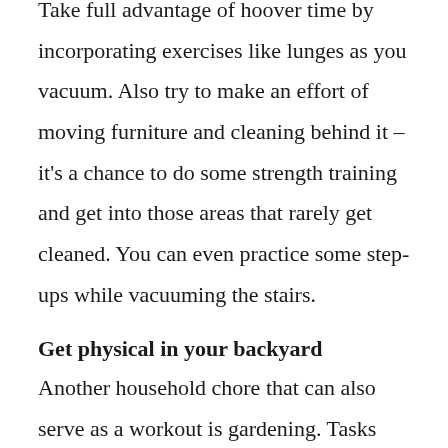Take full advantage of hoover time by incorporating exercises like lunges as you vacuum. Also try to make an effort of moving furniture and cleaning behind it – it's a chance to do some strength training and get into those areas that rarely get cleaned. You can even practice some step-ups while vacuuming the stairs.
Get physical in your backyard
Another household chore that can also serve as a workout is gardening. Tasks like